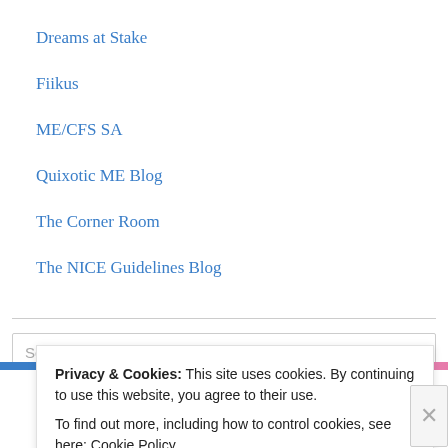Dreams at Stake
Fiikus
ME/CFS SA
Quixotic ME Blog
The Corner Room
The NICE Guidelines Blog
Search
Privacy & Cookies: This site uses cookies. By continuing to use this website, you agree to their use.
To find out more, including how to control cookies, see here: Cookie Policy